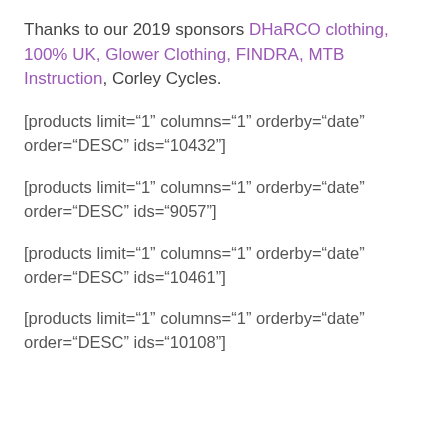Thanks to our 2019 sponsors DHaRCO clothing, 100% UK, Glower Clothing, FINDRA, MTB Instruction, Corley Cycles.
[products limit="1" columns="1" orderby="date" order="DESC" ids="10432"]
[products limit="1" columns="1" orderby="date" order="DESC" ids="9057"]
[products limit="1" columns="1" orderby="date" order="DESC" ids="10461"]
[products limit="1" columns="1" orderby="date" order="DESC" ids="10108"]